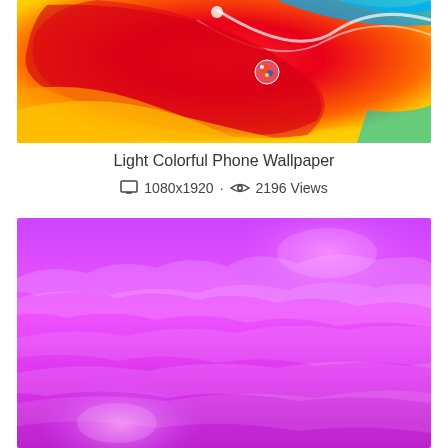[Figure (photo): Abstract colorful swirling paint or liquid art with red, orange, yellow, blue and white colors, with reflective water droplets]
Light Colorful Phone Wallpaper
1080x1920 · 2196 Views
[Figure (photo): Purple and magenta sky with clouds, bright pink/violet tones throughout]